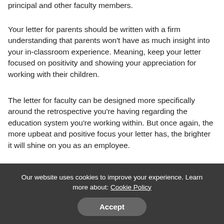principal and other faculty members.
Your letter for parents should be written with a firm understanding that parents won't have as much insight into your in-classroom experience. Meaning, keep your letter focused on positivity and showing your appreciation for working with their children.
The letter for faculty can be designed more specifically around the retrospective you're having regarding the education system you're working within. But once again, the more upbeat and positive focus your letter has, the brighter it will shine on you as an employee.
How to Send Your Letter of
Our website uses cookies to improve your experience. Learn more about: Cookie Policy
Accept